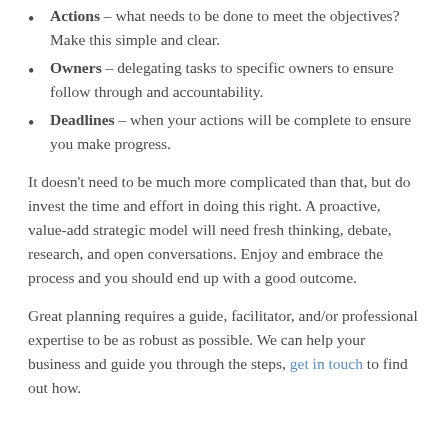Actions – what needs to be done to meet the objectives? Make this simple and clear.
Owners – delegating tasks to specific owners to ensure follow through and accountability.
Deadlines – when your actions will be complete to ensure you make progress.
It doesn't need to be much more complicated than that, but do invest the time and effort in doing this right. A proactive, value-add strategic model will need fresh thinking, debate, research, and open conversations. Enjoy and embrace the process and you should end up with a good outcome.
Great planning requires a guide, facilitator, and/or professional expertise to be as robust as possible. We can help your business and guide you through the steps, get in touch to find out how.